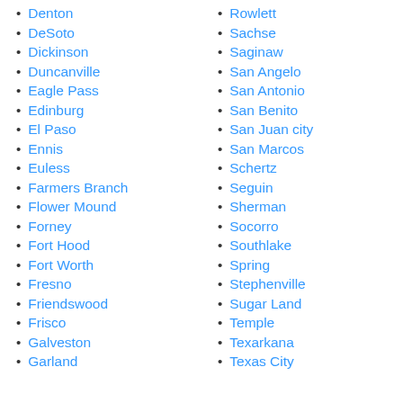Denton
DeSoto
Dickinson
Duncanville
Eagle Pass
Edinburg
El Paso
Ennis
Euless
Farmers Branch
Flower Mound
Forney
Fort Hood
Fort Worth
Fresno
Friendswood
Frisco
Galveston
Garland
Rowlett
Sachse
Saginaw
San Angelo
San Antonio
San Benito
San Juan city
San Marcos
Schertz
Seguin
Sherman
Socorro
Southlake
Spring
Stephenville
Sugar Land
Temple
Texarkana
Texas City